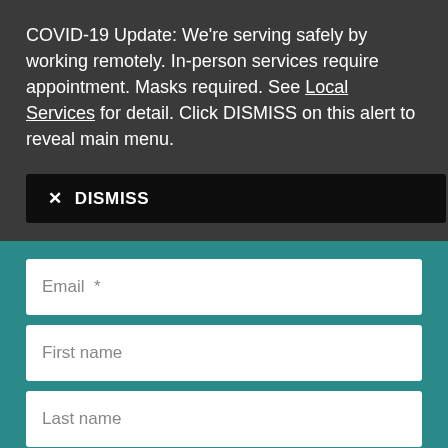COVID-19 Update: We're serving safely by working remotely. In-person services require appointment. Masks required. See Local Services for detail. Click DISMISS on this alert to reveal main menu.
✕ DISMISS
Email *
First name
Last name
Postal code *